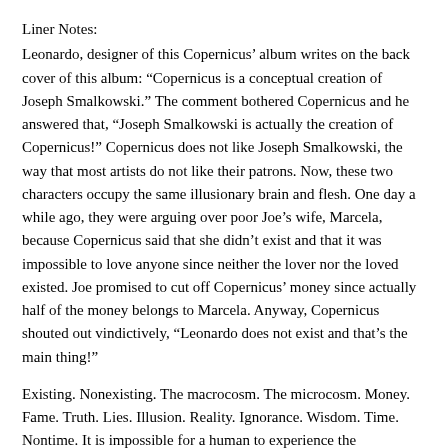Liner Notes:
Leonardo, designer of this Copernicus’ album writes on the back cover of this album: "Copernicus is a conceptual creation of Joseph Smalkowski." The comment bothered Copernicus and he answered that, "Joseph Smalkowski is actually the creation of Copernicus!" Copernicus does not like Joseph Smalkowski, the way that most artists do not like their patrons. Now, these two characters occupy the same illusionary brain and flesh. One day a while ago, they were arguing over poor Joe’s wife, Marcela, because Copernicus said that she didn’t exist and that it was impossible to love anyone since neither the lover nor the loved existed. Joe promised to cut off Copernicus’ money since actually half of the money belongs to Marcela. Anyway, Copernicus shouted out vindictively, "Leonardo does not exist and that’s the main thing!"
Existing. Nonexisting. The macrocosm. The microcosm. Money. Fame. Truth. Lies. Illusion. Reality. Ignorance. Wisdom. Time. Nontime. It is impossible for a human to experience the nonexistent present, since by the time the human senses pick up on sound and light waves emanated from someone or some thing that is actually a cauldron of subatomic fury, that person or thing has subatomically changed into something else and keeps changing nonstop.
(partial, continues below page)